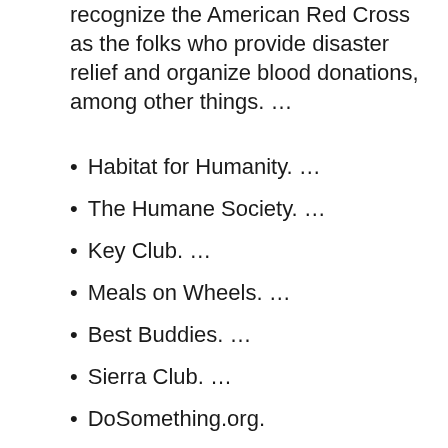recognize the American Red Cross as the folks who provide disaster relief and organize blood donations, among other things. …
Habitat for Humanity. …
The Humane Society. …
Key Club. …
Meals on Wheels. …
Best Buddies. …
Sierra Club. …
DoSomething.org.
IT IS SURPRISING:  Why forced volunteering is bad?
Which age group volunteers the most?